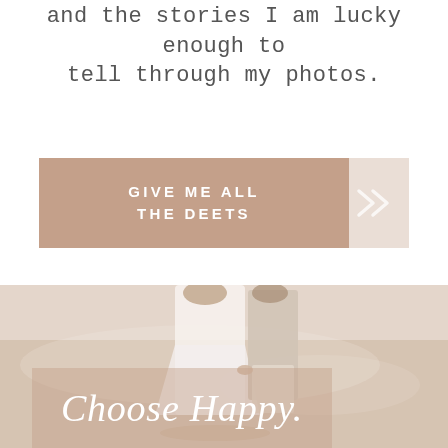and the stories I am lucky enough to tell through my photos.
[Figure (infographic): Tan/mauve button with white uppercase text 'GIVE ME ALL THE DEETS' and double chevron arrow on right side]
[Figure (photo): Beach photo of couple (woman in white dress, man in light clothing) walking on sand, with semi-transparent mauve overlay box containing italic serif text 'Choose Happy.']